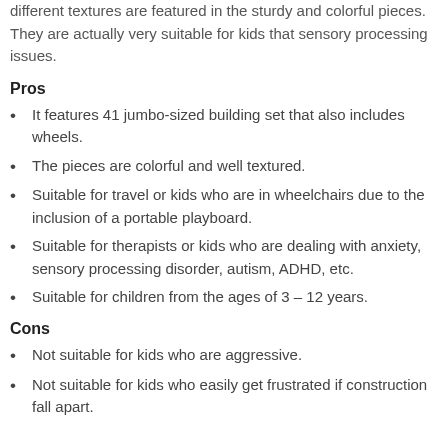different textures are featured in the sturdy and colorful pieces. They are actually very suitable for kids that sensory processing issues.
Pros
It features 41 jumbo-sized building set that also includes wheels.
The pieces are colorful and well textured.
Suitable for travel or kids who are in wheelchairs due to the inclusion of a portable playboard.
Suitable for therapists or kids who are dealing with anxiety, sensory processing disorder, autism, ADHD, etc.
Suitable for children from the ages of 3 – 12 years.
Cons
Not suitable for kids who are aggressive.
Not suitable for kids who easily get frustrated if construction fall apart.